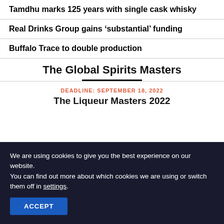Tamdhu marks 125 years with single cask whisky
Real Drinks Group gains ‘substantial’ funding
Buffalo Trace to double production
The Global Spirits Masters
DEADLINE: SEPTEMBER 18, 2022
The Liqueur Masters 2022
We are using cookies to give you the best experience on our website.
You can find out more about which cookies we are using or switch them off in settings.
ACCEPT